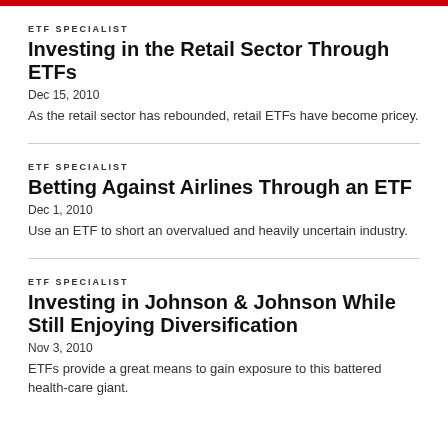ETF SPECIALIST
Investing in the Retail Sector Through ETFs
Dec 15, 2010
As the retail sector has rebounded, retail ETFs have become pricey.
ETF SPECIALIST
Betting Against Airlines Through an ETF
Dec 1, 2010
Use an ETF to short an overvalued and heavily uncertain industry.
ETF SPECIALIST
Investing in Johnson & Johnson While Still Enjoying Diversification
Nov 3, 2010
ETFs provide a great means to gain exposure to this battered health-care giant.